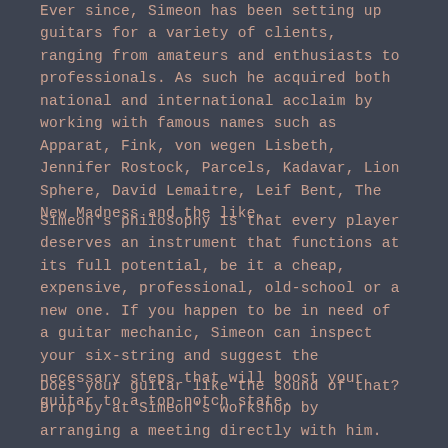Ever since, Simeon has been setting up guitars for a variety of clients, ranging from amateurs and enthusiasts to professionals. As such he acquired both national and international acclaim by working with famous names such as Apparat, Fink, von wegen Lisbeth, Jennifer Rostock, Parcels, Kadavar, Lion Sphere, David Lemaitre, Leif Bent, The New Madness and the like.
Simeon's philosophy is that every player deserves an instrument that functions at its full potential, be it a cheap, expensive, professional, old-school or a new one. If you happen to be in need of a guitar mechanic, Simeon can inspect your six-string and suggest the necessary steps that will boost your guitar to a top-notch state.
Does your guitar like the sound of that? Drop by at Simeon's workshop by arranging a meeting directly with him.